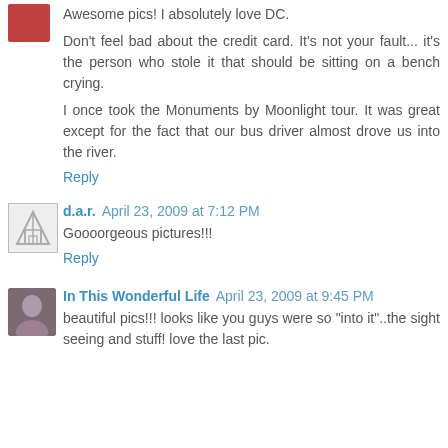Awesome pics! I absolutely love DC.
Don't feel bad about the credit card. It's not your fault... it's the person who stole it that should be sitting on a bench crying.
I once took the Monuments by Moonlight tour. It was great except for the fact that our bus driver almost drove us into the river.
Reply
d.a.r.  April 23, 2009 at 7:12 PM
Goooorgeous pictures!!!
Reply
In This Wonderful Life  April 23, 2009 at 9:45 PM
beautiful pics!!! looks like you guys were so "into it"..the sight seeing and stuff! love the last pic.